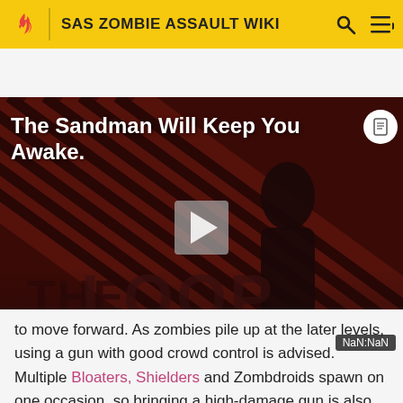SAS ZOMBIE ASSAULT WIKI
[Figure (screenshot): Video thumbnail for 'The Sandman Will Keep You Awake' showing a dark figure against a red-striped background with THE LOOP logo, a play button overlay, and NaN:NaN timestamp badge.]
to move forward. As zombies pile up at the later levels, using a gun with good crowd control is advised. Multiple Bloaters, Shielders and Zombdroids spawn on one occasion, so bringing a high-damage gun is also recommended.